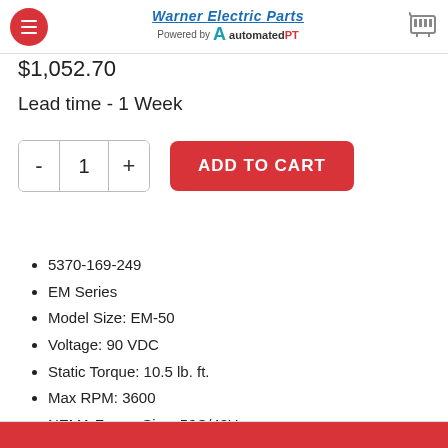Warner Electric Parts Powered by automatedPT
$1,052.70
Lead time - 1 Week
[Figure (other): Quantity selector with minus and plus buttons showing value 1, and a red ADD TO CART button]
5370-169-249
EM Series
Model Size: EM-50
Voltage: 90 VDC
Static Torque: 10.5 lb. ft.
Max RPM: 3600
NEMA Frame Size: 56C/48Y